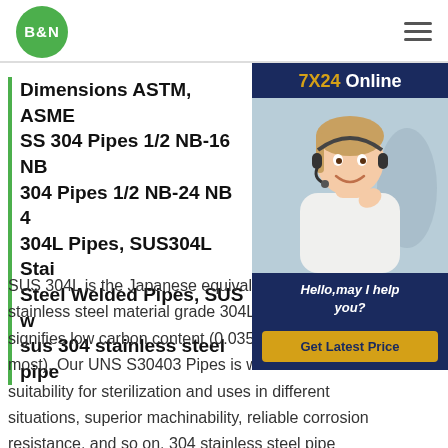B&N — navigation header with logo and hamburger menu
Dimensions ASTM, ASME SS 304 Pipes 1/2 NB-16 NB 304 Pipes 1/2 NB-24 NB 4 304L Pipes, SUS304L Stainless Steel Welded Pipes, SUS w sus 304 stainless steel pipes
[Figure (photo): Customer service representative wearing headset smiling, shown in a chat widget overlay with '7X24 Online' header, 'Hello, may I help you?' message, and 'Get Latest Price' button on dark navy blue background.]
SUS 304L is the Japanese equivalent stainless steel material grade 304L. The alphabet L signifies low carbon content (0.035 percent at the most). Our UNS S30403 Pipes is well-known for its suitability for sterilization and uses in different situations, superior machinability, reliable corrosion resistance, and so on. 304 stainless steel pipe